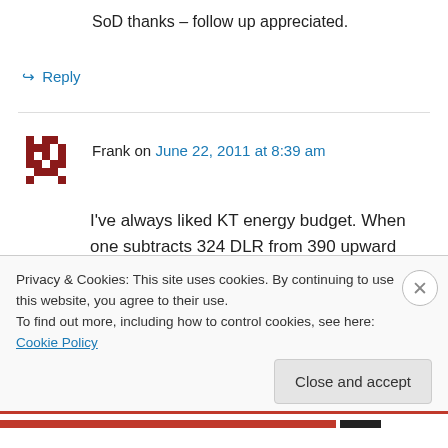SoD thanks – follow up appreciated.
↳ Reply
Frank on June 22, 2011 at 8:39 am
I've always liked KT energy budget. When one subtracts 324 DLR from 390 upward LWR, one learns that radiation NET LWR isn't the most important mechanism for cooling the surface of the earth. Furthermore, 40 of the 66 W/m2 of net upward LWR escapes directly to space. Our
Privacy & Cookies: This site uses cookies. By continuing to use this website, you agree to their use.
To find out more, including how to control cookies, see here: Cookie Policy